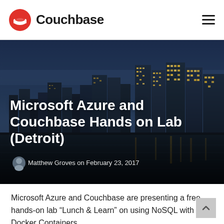Couchbase
[Figure (photo): Couchbase logo: red circle with white couch/bracket icon, followed by bold text 'Couchbase', and a hamburger menu icon on the right]
[Figure (photo): Hero image showing Detroit city skyline at dusk/night with city lights reflecting on water. Overlaid with bold white text: 'Microsoft Azure and Couchbase Hands on Lab (Detroit)' and author byline 'Matthew Groves on February 23, 2017']
Microsoft Azure and Couchbase Hands on Lab (Detroit)
Matthew Groves on February 23, 2017
Microsoft Azure and Couchbase are presenting a free hands-on lab “Lunch & Learn” on using NoSQL with Docker Containers.